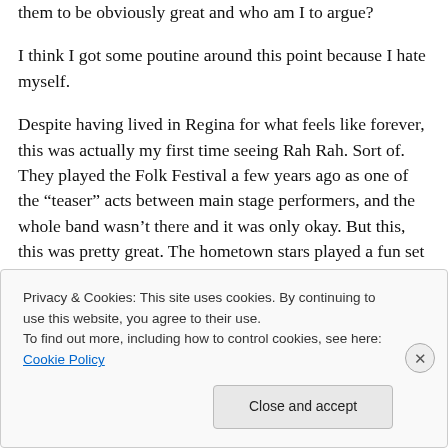them to be obviously great and who am I to argue?
I think I got some poutine around this point because I hate myself.
Despite having lived in Regina for what feels like forever, this was actually my first time seeing Rah Rah. Sort of. They played the Folk Festival a few years ago as one of the “teaser” acts between main stage performers, and the whole band wasn’t there and it was only okay. But this, this was pretty great. The hometown stars played a fun set
Privacy & Cookies: This site uses cookies. By continuing to use this website, you agree to their use.
To find out more, including how to control cookies, see here: Cookie Policy